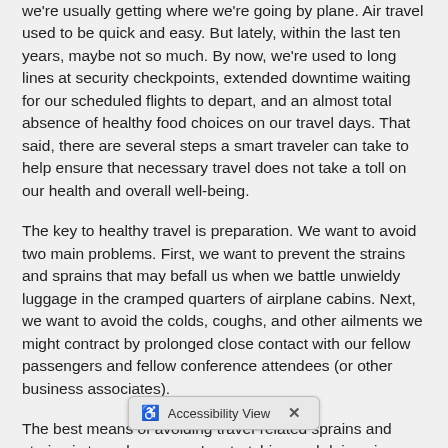we're usually getting where we're going by plane. Air travel used to be quick and easy. But lately, within the last ten years, maybe not so much. By now, we're used to long lines at security checkpoints, extended downtime waiting for our scheduled flights to depart, and an almost total absence of healthy food choices on our travel days. That said, there are several steps a smart traveler can take to help ensure that necessary travel does not take a toll on our health and overall well-being.
The key to healthy travel is preparation. We want to avoid two main problems. First, we want to prevent the strains and sprains that may befall us when we battle unwieldy luggage in the cramped quarters of airplane cabins. Next, we want to avoid the colds, coughs, and other ailments we might contract by prolonged close contact with our fellow passengers and fellow conference attendees (or other business associates).
The best means of avoiding travel-related sprains and strains is to make sure we're stretching and doing vigorous exercise on a regular basis. Ideally, exercising and stretching has been a part of our weekly routine for a long time. If not, the good news about exercising is that the...